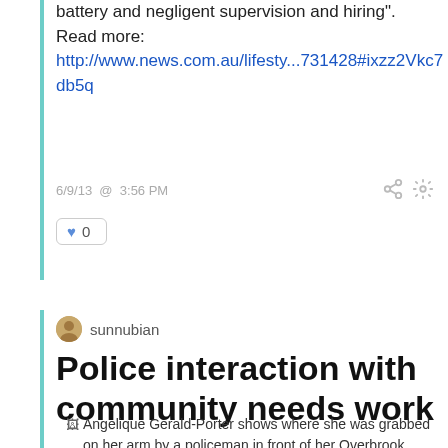battery and negligent supervision and hiring".
Read more:
http://www.news.com.au/lifesty...731428#ixzz2Vkc7db5q
6/9/13  @  3:56 PM
0
sunnubian
Police interaction with community needs work
Angelique Gerald-Porter shows where she was grabbed on her arm by a policeman in front of her Overbrook house on Memorial Day 2011.